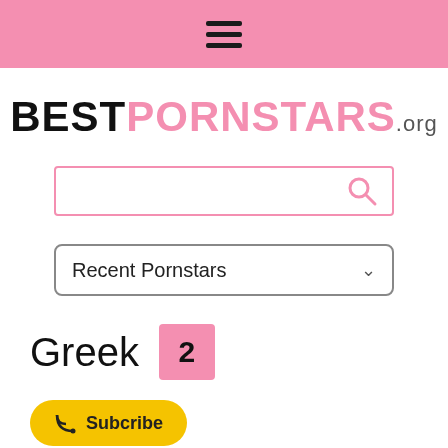☰ (hamburger menu)
BESTPORNSTARS.org
[Figure (other): Search input box with pink border and pink search icon]
[Figure (other): Dropdown selector showing 'Recent Pornstars' with arrow]
Greek  2
Subcribe
Most Recent Greek Pornstars